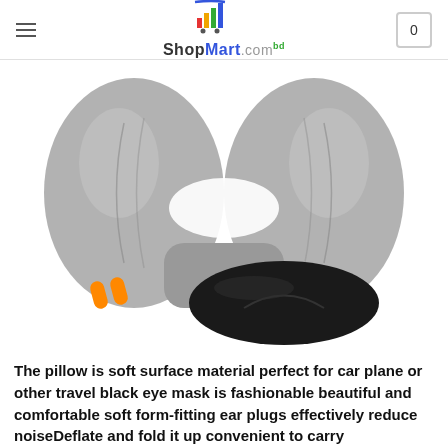ShopMart.com
[Figure (photo): Product photo showing a gray inflatable travel neck pillow (U-shape, viewed from the front), two orange foam ear plugs, and a black sleep eye mask on a white background.]
The pillow is soft surface material perfect for car plane or other travel black eye mask is fashionable beautiful and comfortable soft form-fitting ear plugs effectively reduce noiseDeflate and fold it up convenient to carry